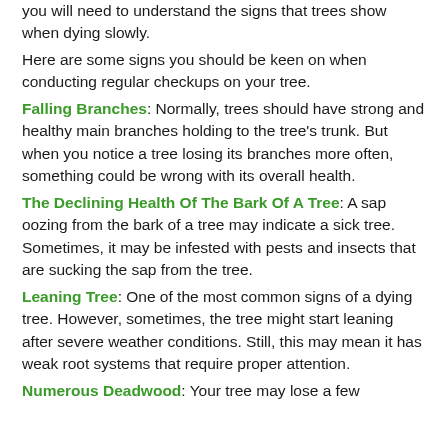you will need to understand the signs that trees show when dying slowly.
Here are some signs you should be keen on when conducting regular checkups on your tree.
Falling Branches: Normally, trees should have strong and healthy main branches holding to the tree's trunk. But when you notice a tree losing its branches more often, something could be wrong with its overall health.
The Declining Health Of The Bark Of A Tree: A sap oozing from the bark of a tree may indicate a sick tree. Sometimes, it may be infested with pests and insects that are sucking the sap from the tree.
Leaning Tree: One of the most common signs of a dying tree. However, sometimes, the tree might start leaning after severe weather conditions. Still, this may mean it has weak root systems that require proper attention.
Numerous Deadwood: Your tree may lose a few